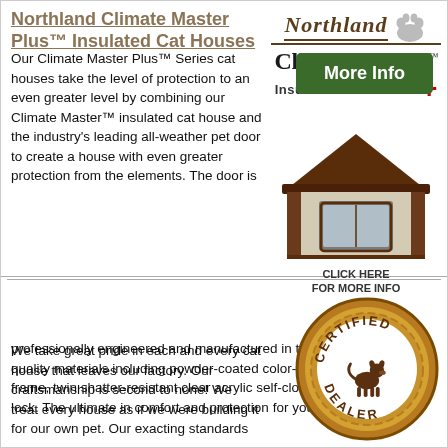Northland Climate Master Plus™ Insulated Cat Houses
[Figure (logo): Northland Climate Master Plus Insulated Cat Houses logo with paw print icon]
[Figure (photo): Northland Climate Master Plus insulated cat house product photo with CLICK HERE FOR MORE INFO text]
Our Climate Master Plus™ Series cat houses take the level of protection to an even greater level by combining our Climate Master™ insulated cat house and the industry's leading all-weather pet door to create a house with even greater protection from the elements. The door is professionally engineered and manufactured in the USA from the finest quality materials including powder-coated color-matching aluminum frame, twin shatter-resistant clear acrylic self-closing door panels, and lock. The ultimate in comfort and protection for your pet!
[Figure (other): More Info green button]
We take great pride in each and every cat house that leaves our factory. Our craftsmanship is second to none! We treat every house as if we were building it for our own pet. Our exacting standards
[Figure (illustration): Certified Dealer badge with dog silhouette]